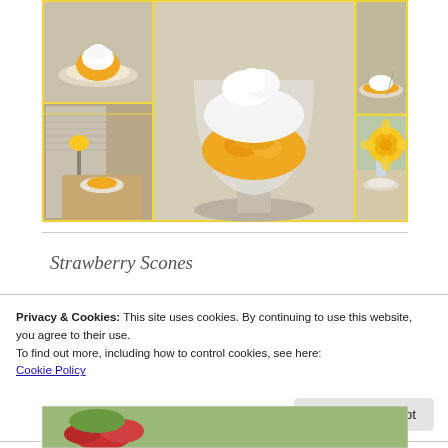[Figure (photo): Food photo collage showing dessert cups with yellow fruit (likely mango or peach) topped with whipped cream, arranged in a grid with multiple angles including a close-up of a glass dessert cup and table settings with yellow flowers]
Strawberry Scones
Privacy & Cookies: This site uses cookies. By continuing to use this website, you agree to their use.
To find out more, including how to control cookies, see here:
Cookie Policy
[Figure (photo): Partial view of strawberry scones at the bottom of the page]